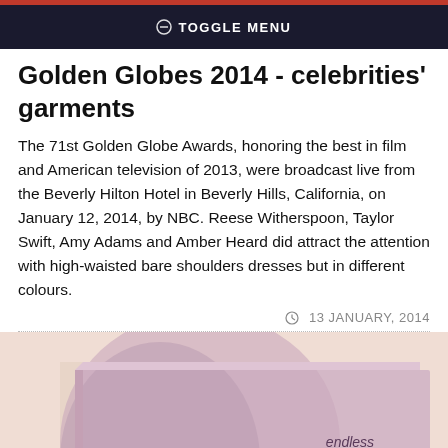TOGGLE MENU
Golden Globes 2014 - celebrities' garments
The 71st Golden Globe Awards, honoring the best in film and American television of 2013, were broadcast live from the Beverly Hilton Hotel in Beverly Hills, California, on January 12, 2014, by NBC. Reese Witherspoon, Taylor Swift, Amy Adams and Amber Heard did attract the attention with high-waisted bare shoulders dresses but in different colours.
13 JANUARY, 2014
[Figure (photo): Photo of Calvin Klein Endless Euphoria perfume box and bottle, pink/lavender tones]